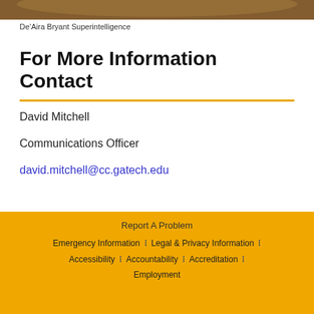[Figure (photo): Cropped top portion of a photo showing De'Aira Bryant Superintelligence]
De'Aira Bryant Superintelligence
For More Information Contact
David Mitchell
Communications Officer
david.mitchell@cc.gatech.edu
[Figure (other): RESOURCES button with arrow icon]
Report A Problem
Emergency Information :: Legal & Privacy Information ::
Accessibility :: Accountability :: Accreditation ::
Employment